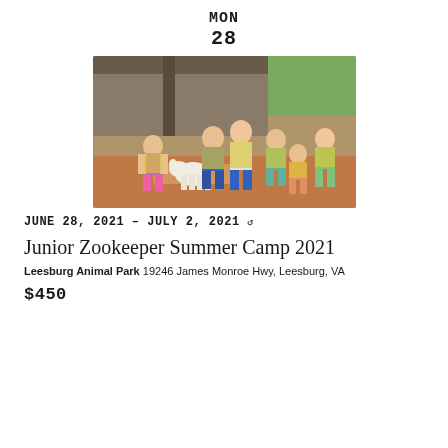MON
28
[Figure (photo): Group of children wearing yellow safety vests standing with a white goat inside a barn/farm setting with dirt ground. Trees visible in background.]
JUNE 28, 2021 - JULY 2, 2021
Junior Zookeeper Summer Camp 2021
Leesburg Animal Park 19246 James Monroe Hwy, Leesburg, VA
$450